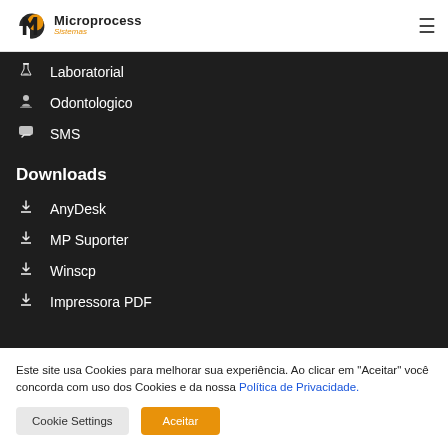[Figure (logo): Microprocess Sistemas logo with orange and dark circle/M icon]
Laboratorial
Odontologico
SMS
Downloads
AnyDesk
MP Suporter
Winscp
Impressora PDF
Este site usa Cookies para melhorar sua experiência. Ao clicar em "Aceitar" você concorda com uso dos Cookies e da nossa Política de Privacidade.
Cookie Settings  Aceitar